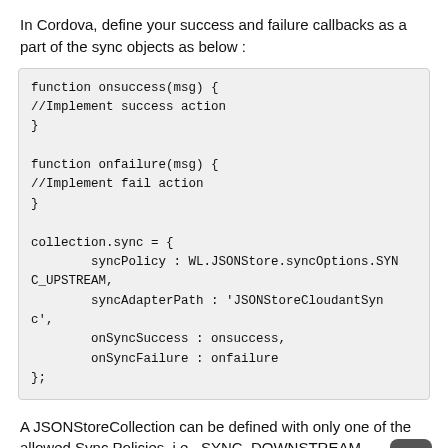In Cordova, define your success and failure callbacks as a part of the sync objects as below :
function onsuccess(msg) {
//Implement success action
}

function onfailure(msg) {
//Implement fail action
}

collection.sync = {
        syncPolicy : WL.JSONStore.syncOptions.SYNC_UPSTREAM,
        syncAdapterPath : 'JSONStoreCloudantSync',
        onSyncSuccess : onsuccess,
        onSyncFailure : onfailure
};
A JSONStoreCollection can be defined with only one of the allowed Sync Policies, i.e., SYNC_DOWNSTREAM, SYNC_UPSTREAM or SYNC_NONE.